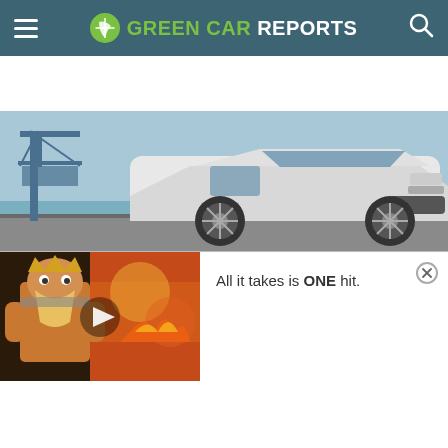Green Car Reports
[Figure (photo): Front view of a white electric SUV (Toyota bZ4X or similar) on a road near a port/marina with blue industrial cranes in the background.]
[Figure (screenshot): Video advertisement showing an animated warrior character from a mobile game with text 'All it takes is ONE hit.' and a close button.]
All it takes is ONE hit.